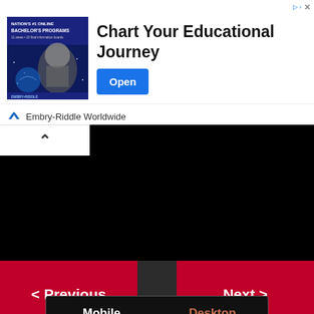[Figure (screenshot): Advertisement banner for Embry-Riddle Worldwide showing astronaut image, 'Chart Your Educational Journey' headline, and Open button]
Chart Your Educational Journey
Embry-Riddle Worldwide
[Figure (screenshot): Dark video/content area with collapse toggle button (caret up) on white background]
< Previous
Next >
Mobile
Desktop